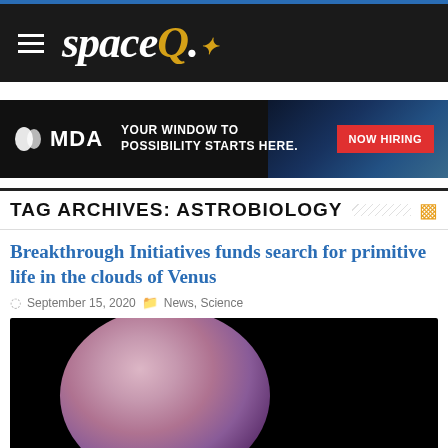spaceQ
[Figure (photo): MDA advertisement banner: YOUR WINDOW TO POSSIBILITY STARTS HERE. NOW HIRING]
TAG ARCHIVES: ASTROBIOLOGY
Breakthrough Initiatives funds search for primitive life in the clouds of Venus
September 15, 2020   News, Science
[Figure (photo): Photo of Venus against black background, showing partial view of the planet with pink/purple hues]